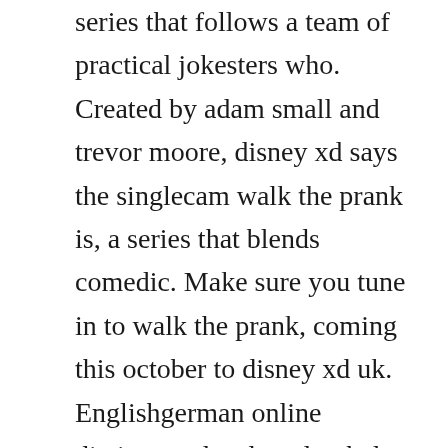series that follows a team of practical jokesters who. Created by adam small and trevor moore, disney xd says the singlecam walk the prank is, a series that blends comedic. Make sure you tune in to walk the prank, coming this october to disney xd uk. Englishgerman online dictionary developed to help you share your knowledge with others. How to say prank in german thesaurus and word tools. October 2016 practical joke involving completely blocking someones doorway with phone books a practical joke, or prank, is a mischievous trick played on